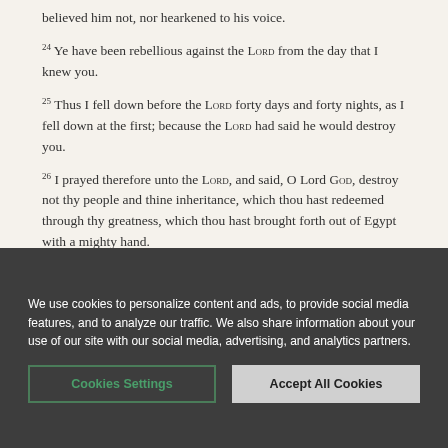believed him not, nor hearkened to his voice.
24 Ye have been rebellious against the LORD from the day that I knew you.
25 Thus I fell down before the LORD forty days and forty nights, as I fell down at the first; because the LORD had said he would destroy you.
26 I prayed therefore unto the LORD, and said, O Lord GOD, destroy not thy people and thine inheritance, which thou hast redeemed through thy greatness, which thou hast brought forth out of Egypt with a mighty hand.
We use cookies to personalize content and ads, to provide social media features, and to analyze our traffic. We also share information about your use of our site with our social media, advertising, and analytics partners.